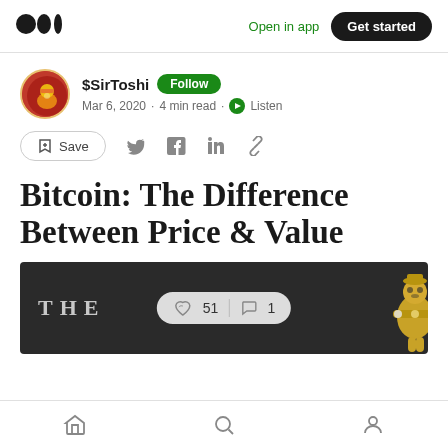Open in app  Get started
$SirToshi · Follow · Mar 6, 2020 · 4 min read · Listen
Save
Bitcoin: The Difference Between Price & Value
[Figure (photo): Dark banner image showing 'THE' text in grey on dark background with a gold decorative cross/figure on the right, and a clap/comment reaction pill overlay showing 51 claps and 1 comment]
Home  Search  Profile